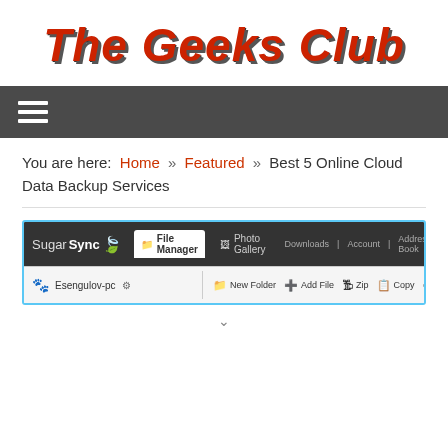The Geeks Club
[Figure (screenshot): Navigation bar with hamburger menu icon on dark gray background]
You are here: Home » Featured » Best 5 Online Cloud Data Backup Services
[Figure (screenshot): SugarSync File Manager web application screenshot showing the toolbar with New Folder, Add File, Zip, Copy, Move, Delete buttons and a file tree with Esengulov-pc]